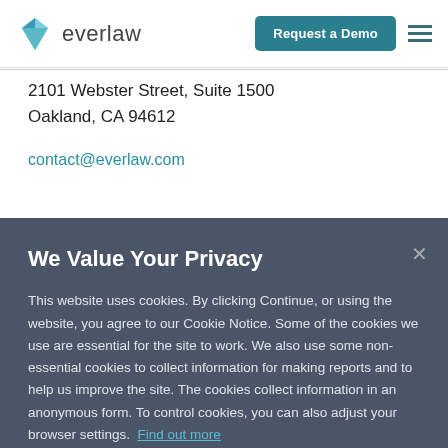[Figure (logo): Everlaw diamond logo with teal gradient and company name 'everlaw' in grey text]
2101 Webster Street, Suite 1500
Oakland, CA 94612
contact@everlaw.com
We Value Your Privacy
This website uses cookies. By clicking Continue, or using the website, you agree to our Cookie Notice. Some of the cookies we use are essential for the site to work. We also use some non-essential cookies to collect information for making reports and to help us improve the site. The cookies collect information in an anonymous form. To control cookies, you can also adjust your browser settings.  Find out more
Cookies Settings
Continue